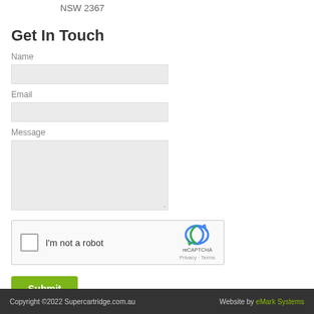NSW 2367
Get In Touch
Name
Email
Message
[Figure (other): reCAPTCHA widget with checkbox labeled I'm not a robot, reCAPTCHA logo, and Privacy · Terms links]
Submit
Copyright ©2022 Supercartridge.com.au   Website by eMark Systems